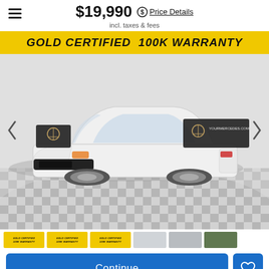$19,990
incl. taxes & fees
Price Details
[Figure (photo): White Kia Optima sedan displayed in a Mercedes-Benz dealership on a checkered floor, with a yellow 'GOLD CERTIFIED 100K WARRANTY' banner across the top of the image. Mercedes-Benz dealer signs visible on left and right sides.]
GOLD CERTIFIED  100K WARRANTY
Continue